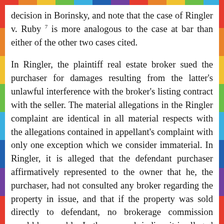decision in Borinsky, and note that the case of Ringler v. Ruby 7 is more analogous to the case at bar than either of the other two cases cited.

In Ringler, the plaintiff real estate broker sued the purchaser for damages resulting from the latter's unlawful interference with the broker's listing contract with the seller. The material allegations in the Ringler complaint are identical in all material respects with the allegations contained in appellant's complaint with only one exception which we consider immaterial. In Ringler, it is alleged that the defendant purchaser affirmatively represented to the owner that he, the purchaser, had not consulted any broker regarding the property in issue, and that if the property was sold directly to defendant, no brokerage commission would be payable. In the case sub judice, it is alleged that defendant purchaser, acting through his undisclosed agent, remained silent as to his prior negotiations with